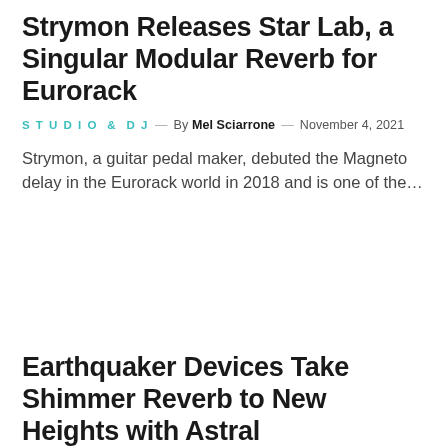Strymon Releases Star Lab, a Singular Modular Reverb for Eurorack
STUDIO & DJ — By Mel Sciarrone — November 4, 2021
Strymon, a guitar pedal maker, debuted the Magneto delay in the Eurorack world in 2018 and is one of the...
[Figure (photo): Article image placeholder (white/blank area)]
Earthquaker Devices Take Shimmer Reverb to New Heights with Astral